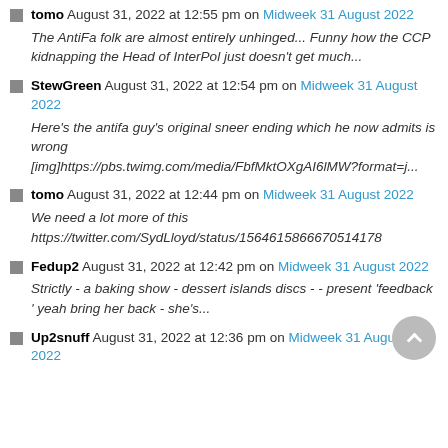tomo August 31, 2022 at 12:55 pm on Midweek 31 August 2022 – The AntiFa folk are almost entirely unhinged... Funny how the CCP kidnapping the Head of InterPol just doesn't get much...
StewGreen August 31, 2022 at 12:54 pm on Midweek 31 August 2022 – Here's the antifa guy's original sneer ending which he now admits is wrong [img]https://pbs.twimg.com/media/FbfMktOXgAI6lMW?format=j...
tomo August 31, 2022 at 12:44 pm on Midweek 31 August 2022 – We need a lot more of this https://twitter.com/SydLloyd/status/1564615866670514178
Fedup2 August 31, 2022 at 12:42 pm on Midweek 31 August 2022 – Strictly - a baking show - dessert islands discs - - present 'feedback ' yeah bring her back - she's...
Up2snuff August 31, 2022 at 12:36 pm on Midweek 31 August 2022